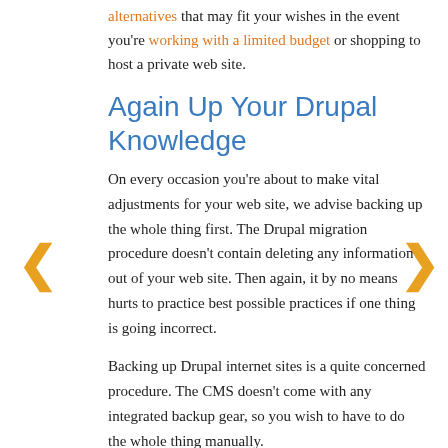alternatives that may fit your wishes in the event you're working with a limited budget or shopping to host a private web site.
Again Up Your Drupal Knowledge
On every occasion you're about to make vital adjustments for your web site, we advise backing up the whole thing first. The Drupal migration procedure doesn't contain deleting any information out of your web site. Then again, it by no means hurts to practice best possible practices if one thing is going incorrect.
Backing up Drupal internet sites is a quite concerned procedure. The CMS doesn't come with any integrated backup gear, so you wish to have to do the whole thing manually.
Backing up a Drupal web site comes to making copies of 2 elements: